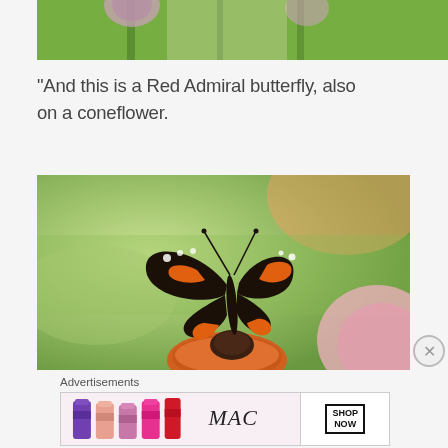[Figure (photo): Top portion of a flower photo, showing green leaves and pink/purple flower tops]
“And this is a Red Admiral butterfly, also on a coneflower.
[Figure (photo): A Red Admiral butterfly with black wings, orange and white markings, perched on an orange coneflower, with blurred green and pink floral background]
Advertisements
[Figure (photo): MAC cosmetics advertisement showing colorful lipsticks on left side and MAC logo with SHOP NOW button on the right]